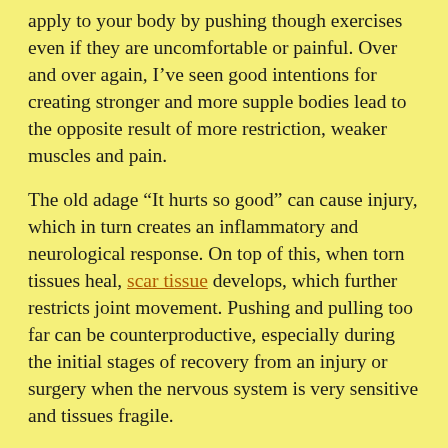apply to your body by pushing though exercises even if they are uncomfortable or painful. Over and over again, I've seen good intentions for creating stronger and more supple bodies lead to the opposite result of more restriction, weaker muscles and pain.
The old adage “It hurts so good” can cause injury, which in turn creates an inflammatory and neurological response. On top of this, when torn tissues heal, scar tissue develops, which further restricts joint movement. Pushing and pulling too far can be counterproductive, especially during the initial stages of recovery from an injury or surgery when the nervous system is very sensitive and tissues fragile.